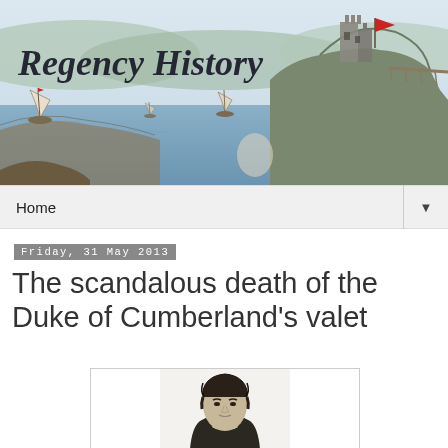[Figure (illustration): Regency History blog header banner showing a watercolor-style coastal scene with sailing boats, cliffs, a castle ruin, and a bridge. The text 'Regency History' is written in cursive script on the left side.]
Home ▼
Friday, 31 May 2013
The scandalous death of the Duke of Cumberland's valet
[Figure (photo): Black and white portrait illustration of a man with curly hair, shown from the shoulders up.]